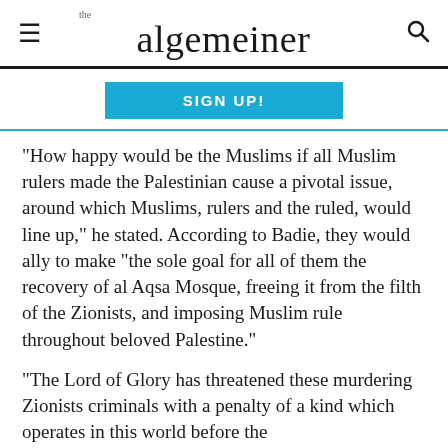the algemeiner
SIGN UP!
“How happy would be the Muslims if all Muslim rulers made the Palestinian cause a pivotal issue, around which Muslims, rulers and the ruled, would line up,” he stated. According to Badie, they would ally to make “the sole goal for all of them the recovery of al Aqsa Mosque, freeing it from the filth of the Zionists, and imposing Muslim rule throughout beloved Palestine.”
“The Lord of Glory has threatened these murdering Zionists criminals with a penalty of a kind which operates in this world before the